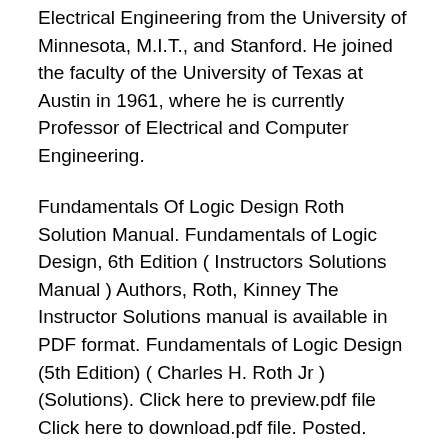Electrical Engineering from the University of Minnesota, M.I.T., and Stanford. He joined the faculty of the University of Texas at Austin in 1961, where he is currently Professor of Electrical and Computer Engineering.
Fundamentals Of Logic Design Roth Solution Manual. Fundamentals of Logic Design, 6th Edition ( Instructors Solutions Manual ) Authors, Roth, Kinney The Instructor Solutions manual is available in PDF format. Fundamentals of Logic Design (5th Edition) ( Charles H. Roth Jr ) (Solutions). Click here to preview.pdf file Click here to download.pdf file. Posted. Read and Download PDF File Solution Charles Roth. The Instructor Solutions manual is available in PDF format for the following INSTRUCTOR'S